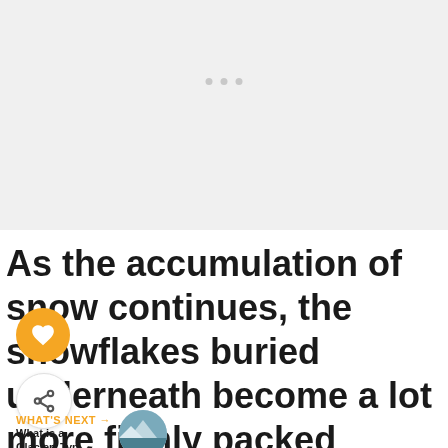[Figure (photo): A large image placeholder at the top of the page, shown as a light gray rectangle with navigation dots, presumably showing a glacier or snow scene.]
As the accumulation of snow continues, the snowflakes buried underneath become a lot more firmly packed together. The tight packing triggers the snowflakes to assume round shapes while the hexagonal
[Figure (other): UI element: orange circular heart/favorite button]
[Figure (other): UI element: white circular share button]
WHAT'S NEXT → What is a Glacier: Typ...